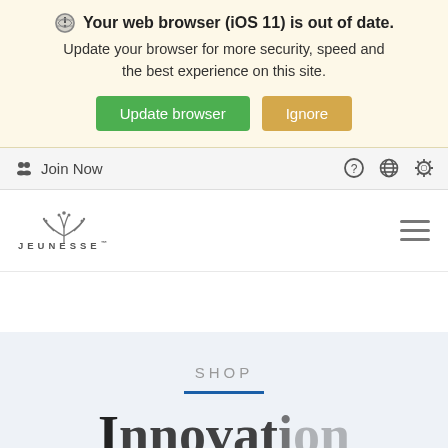Your web browser (iOS 11) is out of date. Update your browser for more security, speed and the best experience on this site. [Update browser] [Ignore]
Join Now
[Figure (logo): Jeunesse logo with decorative floral/fountain mark above the text JEUNESSE]
SHOP